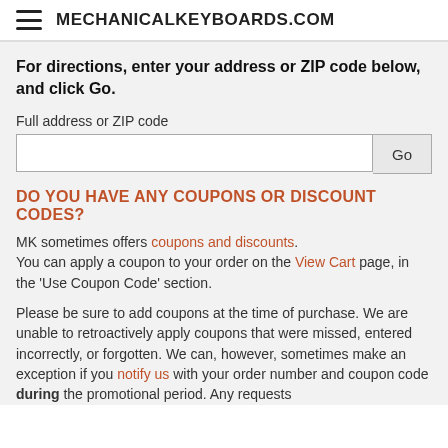MECHANICALKEYBOARDS.COM
For directions, enter your address or ZIP code below, and click Go.
Full address or ZIP code
DO YOU HAVE ANY COUPONS OR DISCOUNT CODES?
MK sometimes offers coupons and discounts. You can apply a coupon to your order on the View Cart page, in the 'Use Coupon Code' section.
Please be sure to add coupons at the time of purchase. We are unable to retroactively apply coupons that were missed, entered incorrectly, or forgotten. We can, however, sometimes make an exception if you notify us with your order number and coupon code during the promotional period. Any requests